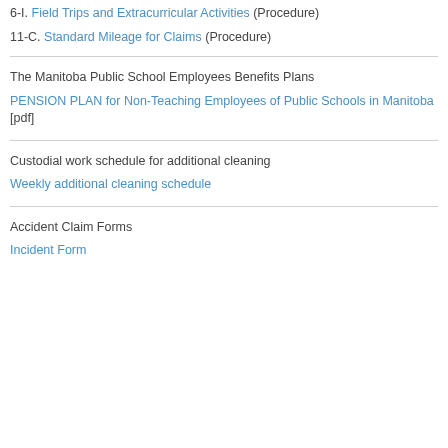6-I. Field Trips and Extracurricular Activities (Procedure)
11-C. Standard Mileage for Claims (Procedure)
The Manitoba Public School Employees Benefits Plans
PENSION PLAN for Non-Teaching Employees of Public Schools in Manitoba [pdf]
Custodial work schedule for additional cleaning
Weekly additional cleaning schedule
Accident Claim Forms
Incident Form